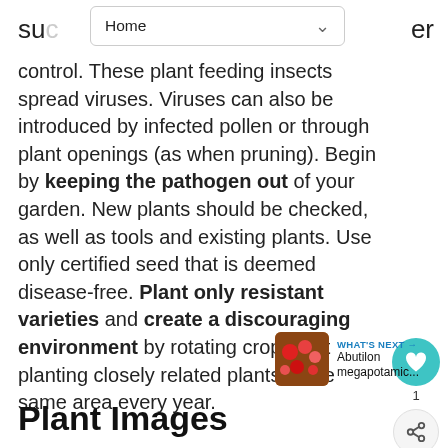Home
control. These plant feeding insects spread viruses. Viruses can also be introduced by infected pollen or through plant openings (as when pruning). Begin by keeping the pathogen out of your garden. New plants should be checked, as well as tools and existing plants. Use only certified seed that is deemed disease-free. Plant only resistant varieties and create a discouraging environment by rotating crops, not planting closely related plants in the same area every year.
Plant Images